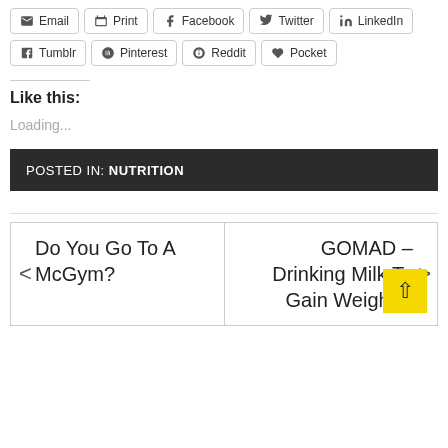Email Print Facebook Twitter LinkedIn
Tumblr Pinterest Reddit Pocket
Like this:
Loading...
POSTED IN: NUTRITION
< Do You Go To A McGym?
GOMAD – Drinking Milk To Gain Weight F >